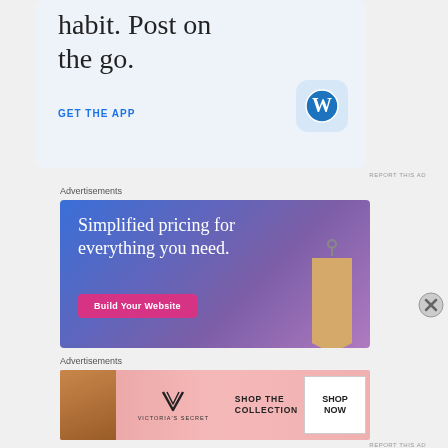[Figure (illustration): WordPress app advertisement with large text 'habit. Post on the go.' and a GET THE APP link, with WordPress logo icon on light blue background]
REPORT THIS AD
Advertisements
[Figure (illustration): Blue-purple gradient advertisement: 'Simplified pricing for everything you need.' with pink 'Build Your Website' button and a price tag graphic on the right]
[Figure (illustration): Victoria's Secret banner advertisement with woman's face on left, VS logo, 'SHOP THE COLLECTION' text, and white 'SHOP NOW' button]
Advertisements
REPORT THIS AD